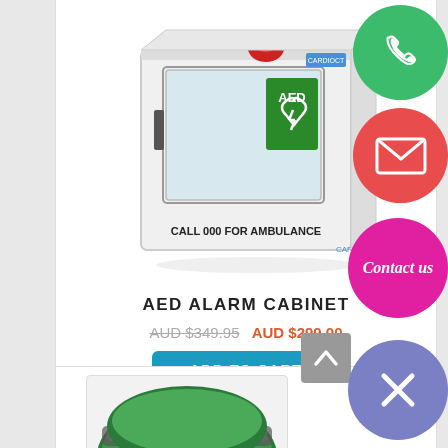[Figure (photo): AED Alarm Cabinet product photo - white metal cabinet with glass door, AED sign, red alarm light on top, text 'CALL 000 FOR AMBULANCE' on front]
AED ALARM CABINET
AUD $349.95 AUD $299.00
ADD TO CART
[Figure (photo): Second product partially visible at bottom - green/grey curved product]
[Figure (illustration): Floating contact buttons: green phone button, red email/envelope button, pink Contact us button, purple close/X button, grey scroll-up arrow button]